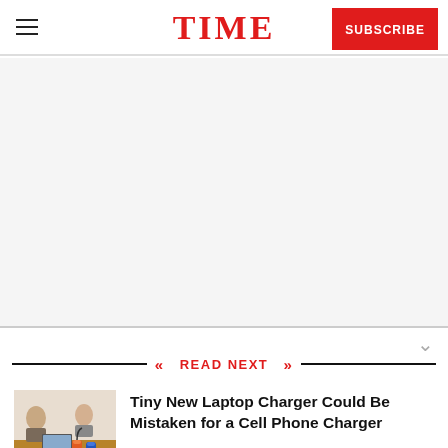TIME
[Figure (other): Blank advertisement/content area placeholder]
READ NEXT
[Figure (photo): Thumbnail photo showing people at a table with small cylindrical charger devices in the foreground]
Tiny New Laptop Charger Could Be Mistaken for a Cell Phone Charger